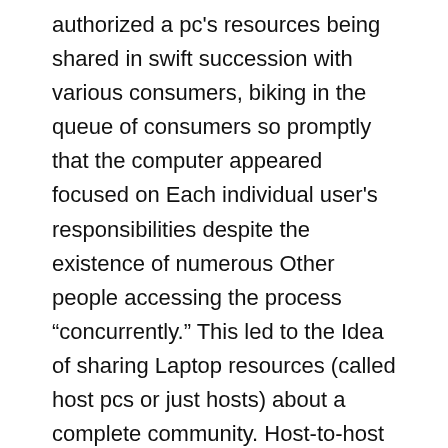authorized a pc's resources being shared in swift succession with various consumers, biking in the queue of consumers so promptly that the computer appeared focused on Each individual user's responsibilities despite the existence of numerous Other people accessing the process "concurrently." This led to the Idea of sharing Laptop resources (called host pcs or just hosts) about a complete community. Host-to-host interactions ended up envisioned, in addition to use of specialised resources (like supercomputers and mass storage methods) and interactive access by distant consumers to the computational powers of your time-sharing methods Found somewhere else. These Thoughts ended up initially recognized in ARPANET, which